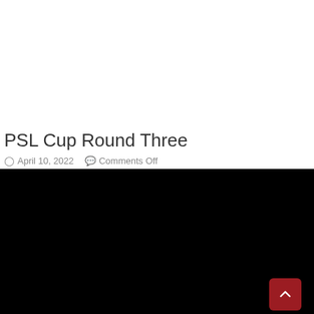[Figure (photo): White blank area at the top of the page]
PSL Cup Round Three
April 10, 2022   Comments Off
[Figure (photo): Large black area/image placeholder occupying the bottom half of the page, with a dark red back-to-top button in the bottom right corner]